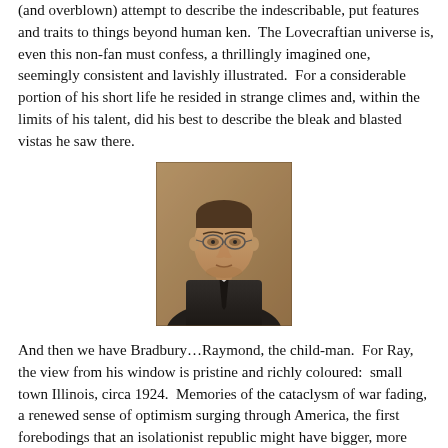(and overblown) attempt to describe the indescribable, put features and traits to things beyond human ken.  The Lovecraftian universe is, even this non-fan must confess, a thrillingly imagined one, seemingly consistent and lavishly illustrated.  For a considerable portion of his short life he resided in strange climes and, within the limits of his talent, did his best to describe the bleak and blasted vistas he saw there.
[Figure (photo): Black and white portrait photograph of a man wearing glasses and a dark suit with tie, looking slightly to the side. Sepia-toned formal portrait.]
And then we have Bradbury…Raymond, the child-man.  For Ray, the view from his window is pristine and richly coloured:  small town Illinois, circa 1924.  Memories of the cataclysm of war fading, a renewed sense of optimism surging through America, the first forebodings that an isolationist republic might have bigger, more ambitious aspirations on the world scene.  An era of silent movies and loud jalopies; traveling circuses and lonely leviathans.  White picket fences, dandelion wine and well-attended